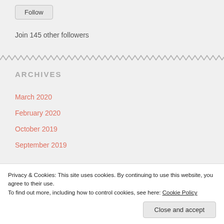Follow
Join 145 other followers
ARCHIVES
March 2020
February 2020
October 2019
September 2019
Privacy & Cookies: This site uses cookies. By continuing to use this website, you agree to their use.
To find out more, including how to control cookies, see here: Cookie Policy
Close and accept